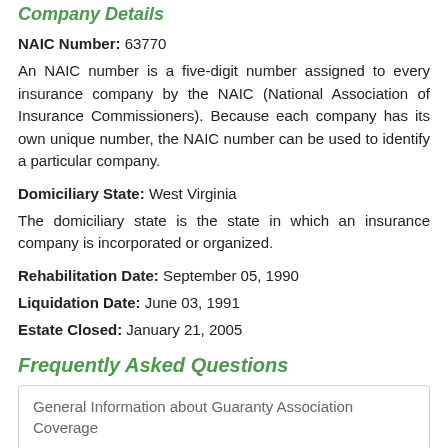Company Details
NAIC Number: 63770
An NAIC number is a five-digit number assigned to every insurance company by the NAIC (National Association of Insurance Commissioners). Because each company has its own unique number, the NAIC number can be used to identify a particular company.
Domiciliary State: West Virginia
The domiciliary state is the state in which an insurance company is incorporated or organized.
Rehabilitation Date: September 05, 1990
Liquidation Date: June 03, 1991
Estate Closed: January 21, 2005
Frequently Asked Questions
General Information about Guaranty Association Coverage